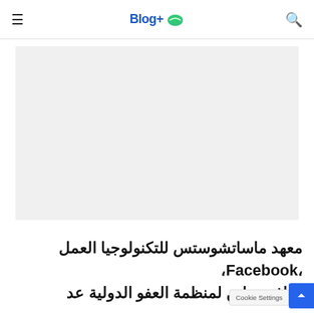Blog+
[Figure (photo): Large light gray placeholder image area for an article image]
معهد ماساتشوستس للتكنولوجيا العمل، Facebook، كرافت ماين لمنظمة العفو الدولية عد